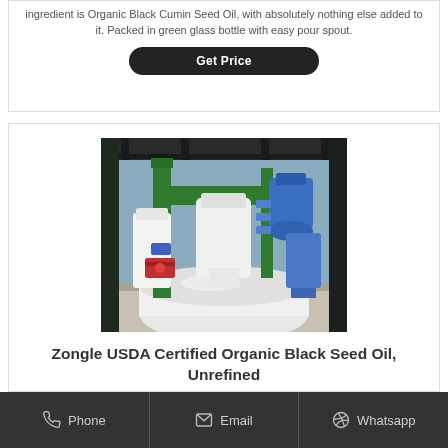ingredient is Organic Black Cumin Seed Oil, with absolutely nothing else added to it. Packed in green glass bottle with easy pour spout.
Get Price
[Figure (photo): Industrial factory interior showing oil processing equipment with white tanks, green and blue pipes and machinery]
Zongle USDA Certified Organic Black Seed Oil, Unrefined
Phone
Email
Whatsapp